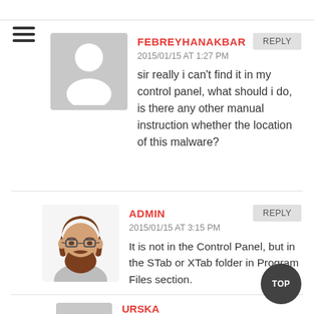[Figure (illustration): Hamburger menu icon (three horizontal lines)]
[Figure (illustration): Generic user avatar silhouette on gray background]
FEBREYHANAKBAR
2015/01/15 AT 1:27 PM
sir really i can't find it in my control panel, what should i do, is there any other manual instruction whether the location of this malware?
[Figure (illustration): Avatar illustration of bearded man with glasses and brown hair]
ADMIN
2015/01/15 AT 3:15 PM
It is not in the Control Panel, but in the STab or XTab folder in Program Files section.
URSKA